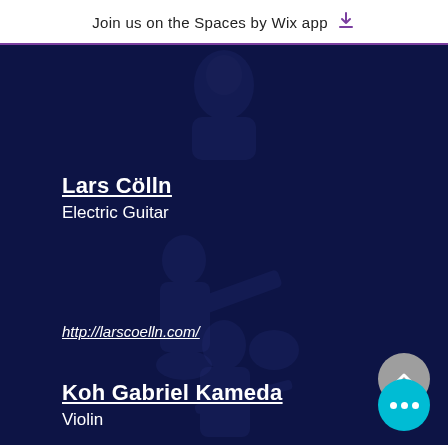Join us on the Spaces by Wix app
[Figure (screenshot): Dark navy blue app background with semi-transparent musician images overlaid]
Lars Cölln
Electric Guitar
http://larscoelln.com/
Koh Gabriel Kameda
Violin